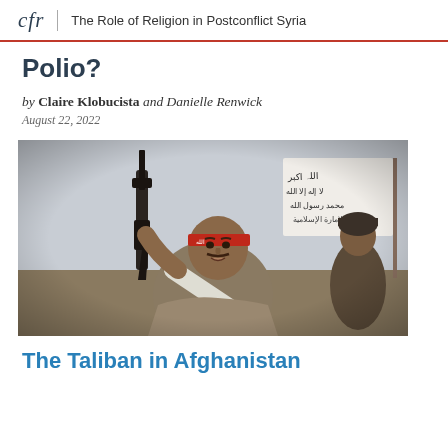cfr | The Role of Religion in Postconflict Syria
Polio?
by Claire Klobucista and Danielle Renwick
August 22, 2022
[Figure (photo): Two armed men, one in the foreground wearing a red headband and carrying a weapon, another in the background holding a white flag with Arabic calligraphy (Taliban flag).]
The Taliban in Afghanistan